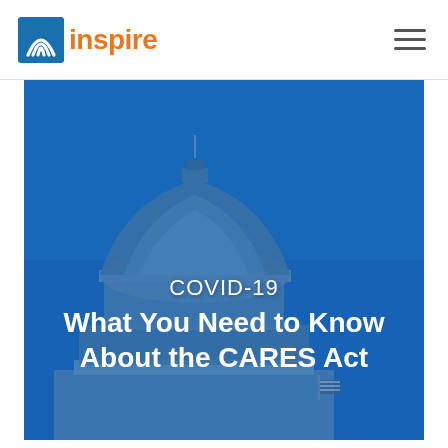[Figure (logo): Inspire company logo with antenna/wifi icon and orange text]
[Figure (photo): US Capitol building dome against blue sky with blue overlay tint, with COVID-19 CARES Act text overlay]
COVID-19
What You Need to Know About the CARES Act